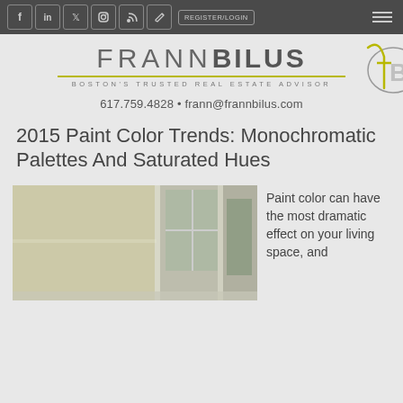REGISTER/LOGIN | social icons | menu
[Figure (logo): Frann Bilus logo with stylized FB monogram, tagline: BOSTON'S TRUSTED REAL ESTATE ADVISOR]
617.759.4828 • frann@frannbilus.com
2015 Paint Color Trends: Monochromatic Palettes And Saturated Hues
[Figure (photo): Interior room photo showing a wall painted in a light sage/green color with a window and hallway]
Paint color can have the most dramatic effect on your living space, and